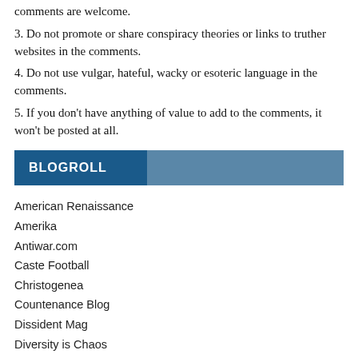comments are welcome.
3. Do not promote or share conspiracy theories or links to truther websites in the comments.
4. Do not use vulgar, hateful, wacky or esoteric language in the comments.
5. If you don’t have anything of value to add to the comments, it won’t be posted at all.
BLOGROLL
American Renaissance
Amerika
Antiwar.com
Caste Football
Christogenea
Countenance Blog
Dissident Mag
Diversity is Chaos
Dixie Republic